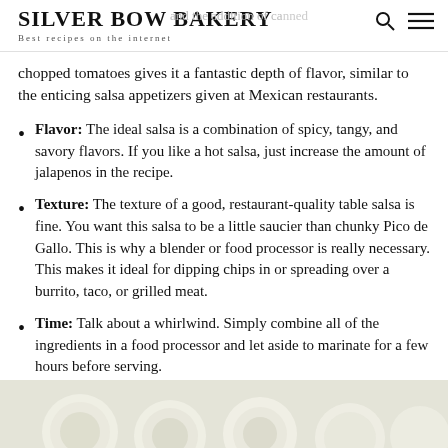SILVER BOW BAKERY
Best recipes on the internet
and the addition of canned chopped tomatoes gives it a fantastic depth of flavor, similar to the enticing salsa appetizers given at Mexican restaurants.
Flavor: The ideal salsa is a combination of spicy, tangy, and savory flavors. If you like a hot salsa, just increase the amount of jalapenos in the recipe.
Texture: The texture of a good, restaurant-quality table salsa is fine. You want this salsa to be a little saucier than chunky Pico de Gallo. This is why a blender or food processor is really necessary. This makes it ideal for dipping chips in or spreading over a burrito, taco, or grilled meat.
Time: Talk about a whirlwind. Simply combine all of the ingredients in a food processor and let aside to marinate for a few hours before serving.
[Figure (photo): Bottom portion of a food photo showing light-colored round ingredients, likely sliced vegetables or fruits, on a light background.]